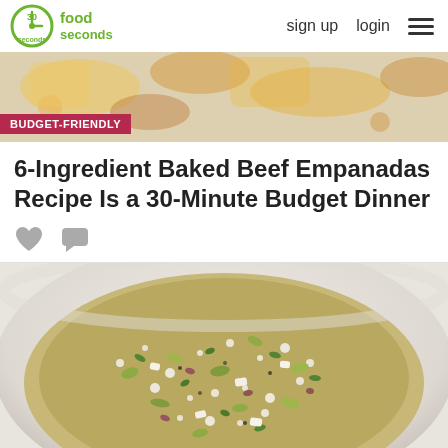30 seconds food | sign up | login
[Figure (photo): Food image strip showing baked empanadas or similar baked goods on a light background]
BUDGET-FRIENDLY
6-Ingredient Baked Beef Empanadas Recipe Is a 30-Minute Budget Dinner
[Figure (photo): Close-up overhead photo of a grain salad with couscous or quinoa, pistachios, herbs, feta cheese, and red onion in a white bowl]